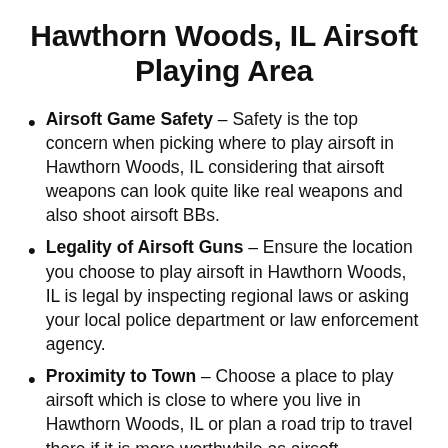Hawthorn Woods, IL Airsoft Playing Area
Airsoft Game Safety – Safety is the top concern when picking where to play airsoft in Hawthorn Woods, IL considering that airsoft weapons can look quite like real weapons and also shoot airsoft BBs.
Legality of Airsoft Guns – Ensure the location you choose to play airsoft in Hawthorn Woods, IL is legal by inspecting regional laws or asking your local police department or law enforcement agency.
Proximity to Town – Choose a place to play airsoft which is close to where you live in Hawthorn Woods, IL or plan a road trip to travel there if it is more worthwhile as airsoft...